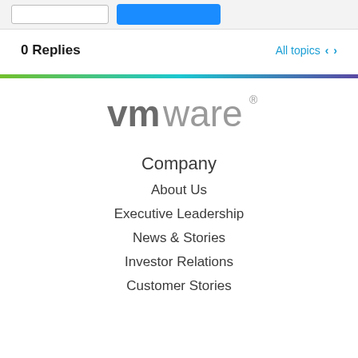0 Replies
All topics < >
[Figure (illustration): Horizontal gradient bar going from green on the left to teal to purple on the right]
[Figure (logo): VMware logo in gray text]
Company
About Us
Executive Leadership
News & Stories
Investor Relations
Customer Stories